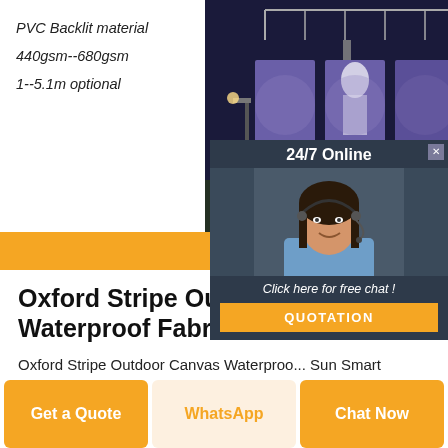PVC Backlit material
440gsm--680gsm
1--5.1m optional
[Figure (photo): Outdoor billboard/signage structure at night with illuminated display panels]
[Figure (photo): Chat popup overlay with woman wearing headset, 24/7 Online text, Click here for free chat!, and QUOTATION button]
Oxford Stripe Outdoor Canvas Waterproof Fabric
Oxford Stripe Outdoor Canvas Waterproo... Sun Smart Outdoor Canvas Huge Sale! shopping_basket 0 Item ... Unique Vintage Sequins Fabric. Vintage Italian Floral Beaded Sequins Fabric. Vivid Floral 2 Tone Sequins ...
Get Price
Get a Quote
WhatsApp
Chat Now